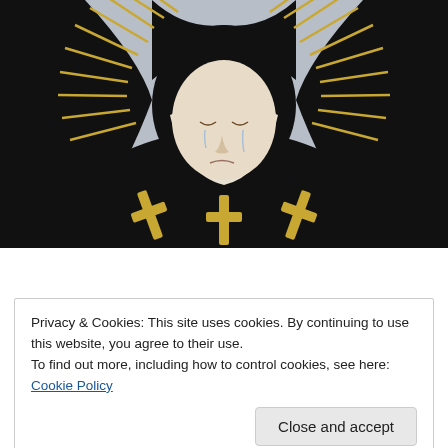[Figure (photo): A religious statue of a weeping Virgin Mary (Mater Dolorosa) dressed in black veil and robes with a golden crown/halo of rays, tears on her cheeks, and golden decorative crosses at the bottom. Light gray background.]
[Figure (screenshot): A screenshot partial view showing an Apply button (teal/blue-gray) and a circular thumbnail image of a hand holding something.]
Privacy & Cookies: This site uses cookies. By continuing to use this website, you agree to their use.
To find out more, including how to control cookies, see here: Cookie Policy
Close and accept